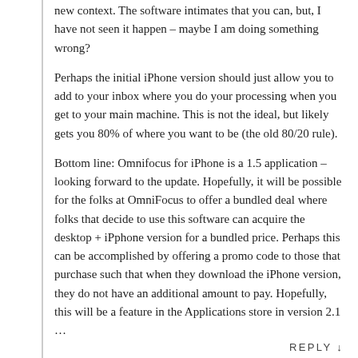new context. The software intimates that you can, but, I have not seen it happen – maybe I am doing something wrong?
Perhaps the initial iPhone version should just allow you to add to your inbox where you do your processing when you get to your main machine. This is not the ideal, but likely gets you 80% of where you want to be (the old 80/20 rule).
Bottom line: Omnifocus for iPhone is a 1.5 application – looking forward to the update. Hopefully, it will be possible for the folks at OmniFocus to offer a bundled deal where folks that decide to use this software can acquire the desktop + iPphone version for a bundled price. Perhaps this can be accomplished by offering a promo code to those that purchase such that when they download the iPhone version, they do not have an additional amount to pay. Hopefully, this will be a feature in the Applications store in version 2.1 …
REPLY ↓